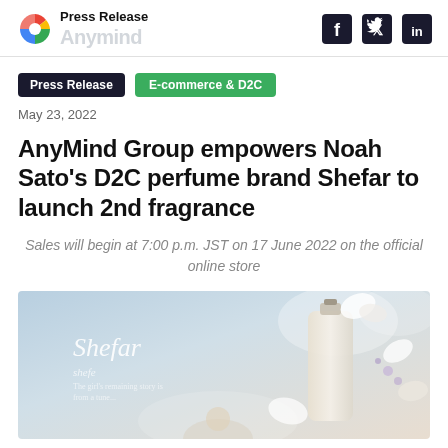Press Release | AnyMind
Press Release
E-commerce & D2C
May 23, 2022
AnyMind Group empowers Noah Sato's D2C perfume brand Shefar to launch 2nd fragrance
Sales will begin at 7:00 p.m. JST on 17 June 2022 on the official online store
[Figure (photo): Product photo of Shefar perfume brand with floral elements and brand text overlay on a soft blue/beige background]